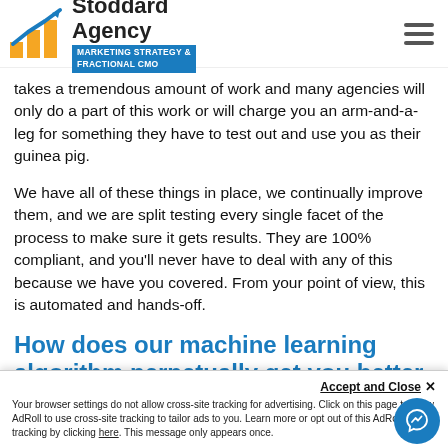Stoddard Agency - Marketing Strategy & Fractional CMO
takes a tremendous amount of work and many agencies will only do a part of this work or will charge you an arm-and-a-leg for something they have to test out and use you as their guinea pig.
We have all of these things in place, we continually improve them, and we are split testing every single facet of the process to make sure it gets results. They are 100% compliant, and you'll never have to deal with any of this because we have you covered. From your point of view, this is automated and hands-off.
How does our machine learning algorithm perpetually get you better results?
Accept and Close ×
Your browser settings do not allow cross-site tracking for advertising. Click on this page to allow AdRoll to use cross-site tracking to tailor ads to you. Learn more or opt out of this AdRoll tracking by clicking here. This message only appears once.